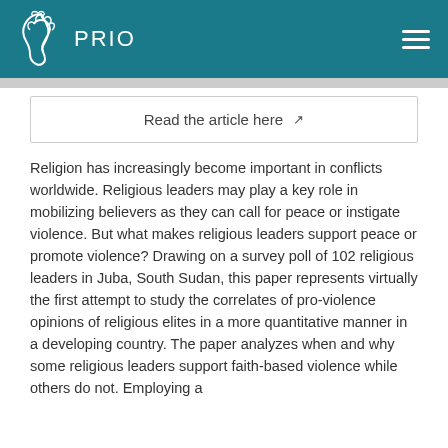PRIO
Read the article here ↗
Religion has increasingly become important in conflicts worldwide. Religious leaders may play a key role in mobilizing believers as they can call for peace or instigate violence. But what makes religious leaders support peace or promote violence? Drawing on a survey poll of 102 religious leaders in Juba, South Sudan, this paper represents virtually the first attempt to study the correlates of pro-violence opinions of religious elites in a more quantitative manner in a developing country. The paper analyzes when and why some religious leaders support faith-based violence while others do not. Employing a